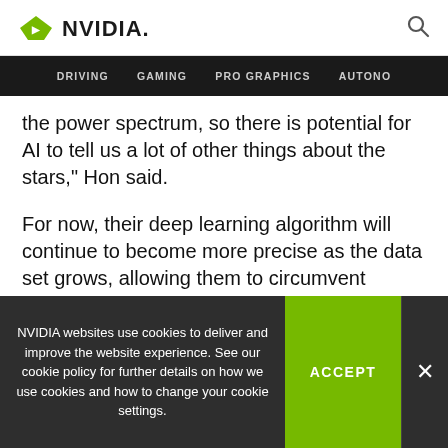NVIDIA
DRIVING  GAMING  PRO GRAPHICS  AUTONO
the power spectrum, so there is potential for AI to tell us a lot of other things about the stars," Hon said.
For now, their deep learning algorithm will continue to become more precise as the data set grows, allowing them to circumvent tedious traditional practices in their field.
NVIDIA websites use cookies to deliver and improve the website experience. See our cookie policy for further details on how we use cookies and how to change your cookie settings.